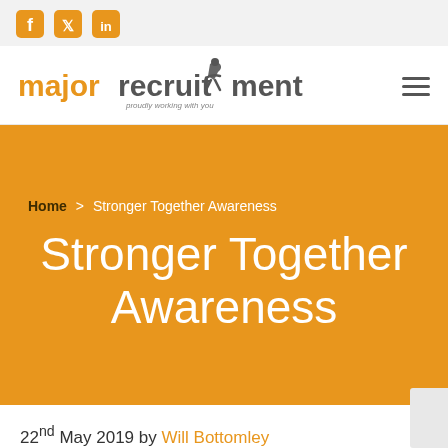Social media icons: Facebook, Twitter, LinkedIn
[Figure (logo): Major Recruitment logo with orange text 'majorrecruitment' and a running figure icon, tagline 'proudly working with you']
Home > Stronger Together Awareness
Stronger Together Awareness
22nd May 2019 by Will Bottomley
Major Recruitment and Stronger Together